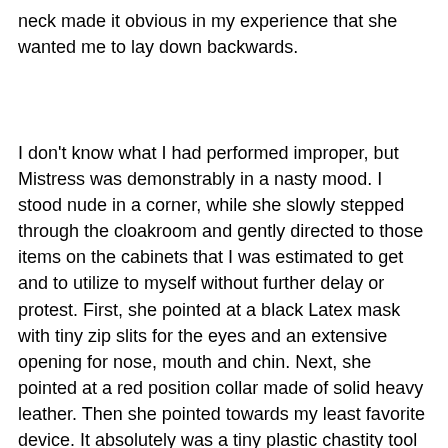neck made it obvious in my experience that she wanted me to lay down backwards.
I don't know what I had performed improper, but Mistress was demonstrably in a nasty mood. I stood nude in a corner, while she slowly stepped through the cloakroom and gently directed to those items on the cabinets that I was estimated to get and to utilize to myself without further delay or protest. First, she pointed at a black Latex mask with tiny zip slits for the eyes and an extensive opening for nose, mouth and chin. Next, she pointed at a red position collar made of solid heavy leather. Then she pointed towards my least favorite device. It absolutely was a tiny plastic chastity tool cage that has been pre-wired for electro arousal at the sides and the underside and which also included an extended conductive rubber dilator. Finally she directed towards the heavy leather cuffs for all four of my ankles. I bowed my head to Mistress to indicate that I had understood and rapidly got those items from the shelf.